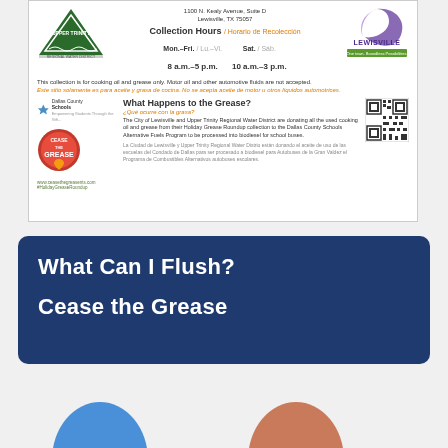[Figure (infographic): Cease the Grease / Holiday Grease Roundup flyer showing Upper Trinity Regional Water District and City of Lewisville logos, collection hours (Mon-Fri 8am-5pm, Sat 10am-3pm), notice about cooking oil/grease only, Dallas County Schools partnership info, and QR code]
What Can I Flush?
Cease the Grease
[Figure (illustration): Two partial circles visible at bottom — blue circle on left, salmon/brown circle on right]